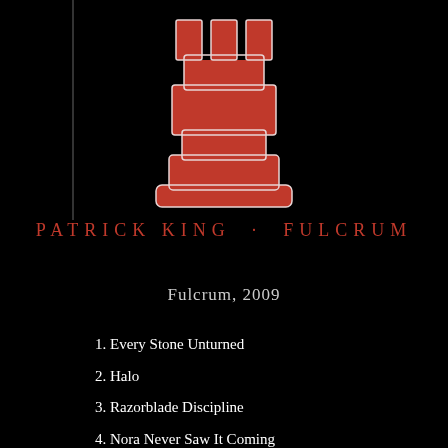[Figure (illustration): Red chess rook piece on black background, partially cropped at top]
PATRICK KING · FULCRUM
Fulcrum, 2009
1. Every Stone Unturned
2. Halo
3. Razorblade Discipline
4. Nora Never Saw It Coming
5. On the Backs of His Pants